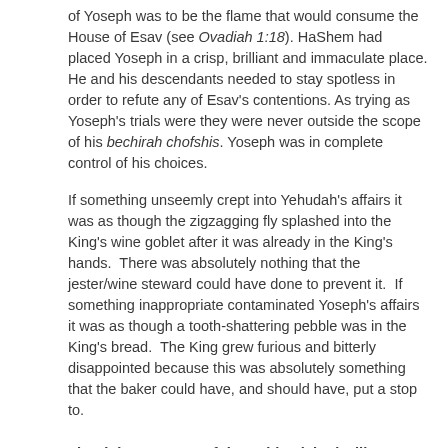of Yoseph was to be the flame that would consume the House of Esav (see Ovadiah 1:18). HaShem had placed Yoseph in a crisp, brilliant and immaculate place. He and his descendants needed to stay spotless in order to refute any of Esav’s contentions. As trying as Yoseph’s trials were they were never outside the scope of his bechirah chofshis. Yoseph was in complete control of his choices.
If something unseemly crept into Yehudah’s affairs it was as though the zigzagging fly splashed into the King’s wine goblet after it was already in the King’s hands.  There was absolutely nothing that the jester/wine steward could have done to prevent it.  If something inappropriate contaminated Yoseph’s affairs it was as though a tooth-shattering pebble was in the King’s bread.  The King grew furious and bitterly disappointed because this was absolutely something that the baker could have, and should have, put a stop to.
The righteousness of the unblemished will straighten his way; and by his wickedness, the wicked shall fall.
-Mishlei 11:5